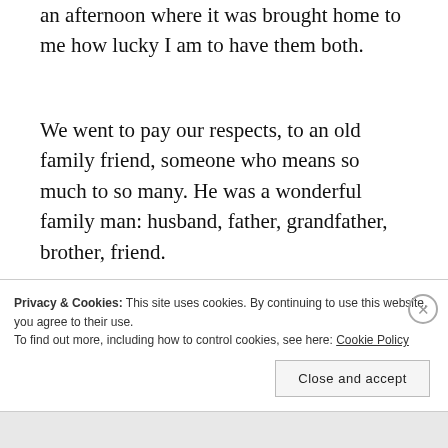an afternoon where it was brought home to me how lucky I am to have them both.
We went to pay our respects, to an old family friend, someone who means so much to so many. He was a wonderful family man: husband, father, grandfather, brother, friend.
He fought hard, battling the cancer, that would eventually take his life.
Privacy & Cookies: This site uses cookies. By continuing to use this website, you agree to their use.
To find out more, including how to control cookies, see here: Cookie Policy
Close and accept